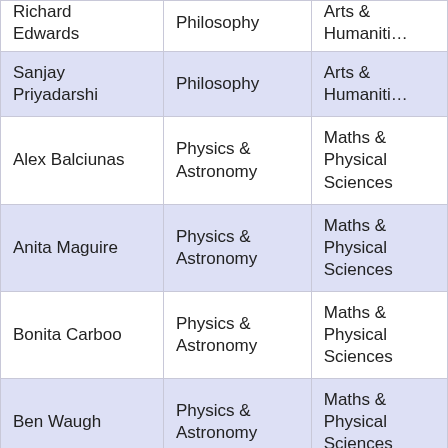| Name | Subject | Faculty |
| --- | --- | --- |
| Richard Edwards | Philosophy | Arts & Humanities |
| Sanjay Priyadarshi | Philosophy | Arts & Humanities |
| Alex Balciunas | Physics & Astronomy | Maths & Physical Sciences |
| Anita Maguire | Physics & Astronomy | Maths & Physical Sciences |
| Bonita Carboo | Physics & Astronomy | Maths & Physical Sciences |
| Ben Waugh | Physics & Astronomy | Maths & Physical Sciences |
| Fabrizio Sidoli | Physics & Astronomy | Maths & Physical Sciences |
| Helen Copeland | Physics & Astronomy | Maths & Physical Sciences |
| John Deacon | Physics & Astronomy | Maths & Physical Sciences |